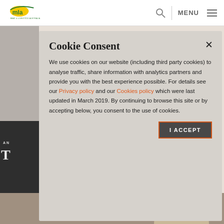MLA Meat & Livestock Australia - MENU
Cookie Consent
We use cookies on our website (including third party cookies) to analyse traffic, share information with analytics partners and provide you with the best experience possible. For details see our Privacy policy and our Cookies policy which were last updated in March 2019. By continuing to browse this site or by accepting below, you consent to the use of cookies.